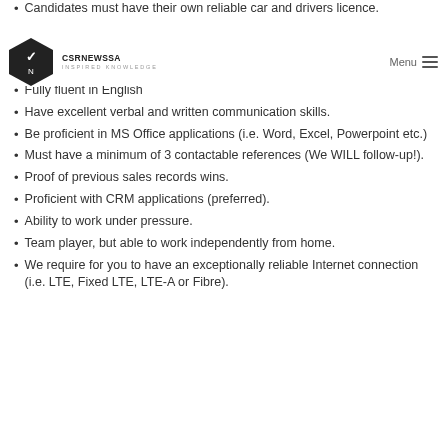Candidates must have their own reliable car and drivers licence.
CSRNEWSSA INSPIRED KNOWLEDGE
Be well presented and well-spoken.
Fully fluent in English
Have excellent verbal and written communication skills.
Be proficient in MS Office applications (i.e. Word, Excel, Powerpoint etc.)
Must have a minimum of 3 contactable references (We WILL follow-up!).
Proof of previous sales records wins.
Proficient with CRM applications (preferred).
Ability to work under pressure.
Team player, but able to work independently from home.
We require for you to have an exceptionally reliable Internet connection (i.e. LTE, Fixed LTE, LTE-A or Fibre).